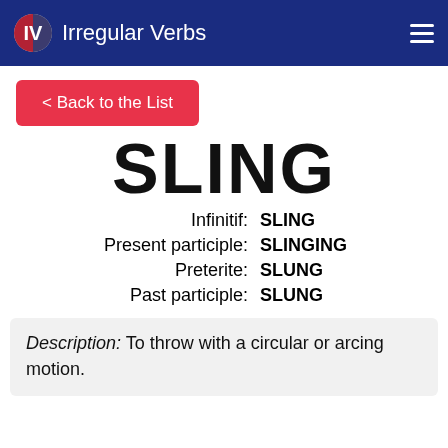Irregular Verbs
< Back to the List
SLING
Infinitif: SLING
Present participle: SLINGING
Preterite: SLUNG
Past participle: SLUNG
Description: To throw with a circular or arcing motion.